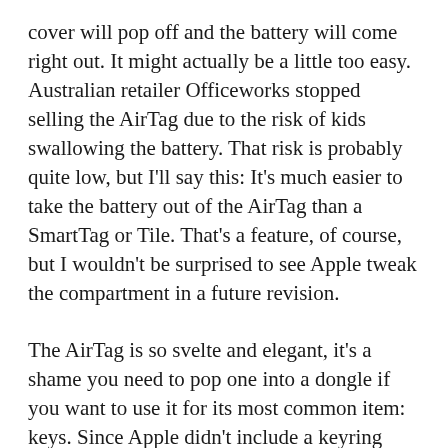cover will pop off and the battery will come right out. It might actually be a little too easy. Australian retailer Officeworks stopped selling the AirTag due to the risk of kids swallowing the battery. That risk is probably quite low, but I'll say this: It's much easier to take the battery out of the AirTag than a SmartTag or Tile. That's a feature, of course, but I wouldn't be surprised to see Apple tweak the compartment in a future revision.
The AirTag is so svelte and elegant, it's a shame you need to pop one into a dongle if you want to use it for its most common item: keys. Since Apple didn't include a keyring hole like its competitors, you're forced to buy an accessory for it, which kind of cheapens the whole appeal. Even Apple's $35 Leather Key Ring, which is very nice and well made, doesn't do the AirTag justice.